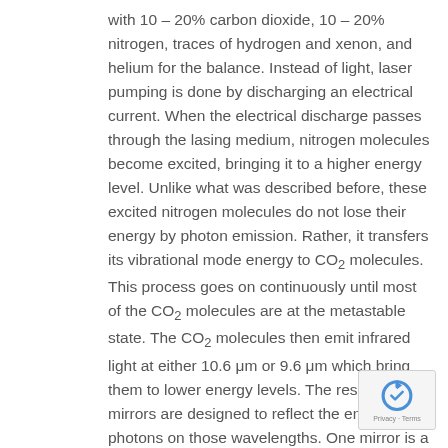with 10 – 20% carbon dioxide, 10 – 20% nitrogen, traces of hydrogen and xenon, and helium for the balance. Instead of light, laser pumping is done by discharging an electrical current. When the electrical discharge passes through the lasing medium, nitrogen molecules become excited, bringing it to a higher energy level. Unlike what was described before, these excited nitrogen molecules do not lose their energy by photon emission. Rather, it transfers its vibrational mode energy to CO2 molecules. This process goes on continuously until most of the CO2 molecules are at the metastable state. The CO2 molecules then emit infrared light at either 10.6 μm or 9.6 μm which bring them to lower energy levels. The resonating mirrors are designed to reflect the emitted photons on those wavelengths. One mirror is a partially reflecting mirror allowing the release of the infrared beam that is used for cutting the material. After releasing infrared light, the CO2
[Figure (logo): reCAPTCHA badge with Privacy and Terms text]